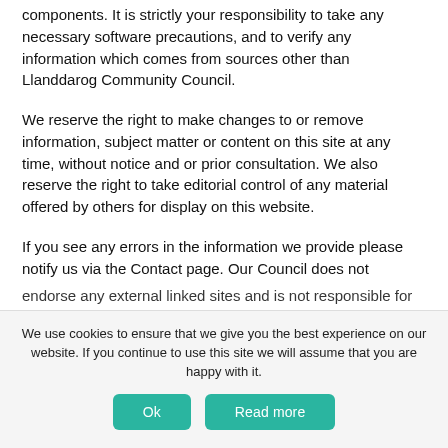components. It is strictly your responsibility to take any necessary software precautions, and to verify any information which comes from sources other than Llanddarog Community Council.
We reserve the right to make changes to or remove information, subject matter or content on this site at any time, without notice and or prior consultation. We also reserve the right to take editorial control of any material offered by others for display on this website.
If you see any errors in the information we provide please notify us via the Contact page. Our Council does not endorse any external linked sites and is not responsible for...
We use cookies to ensure that we give you the best experience on our website. If you continue to use this site we will assume that you are happy with it.
Ok  Read more